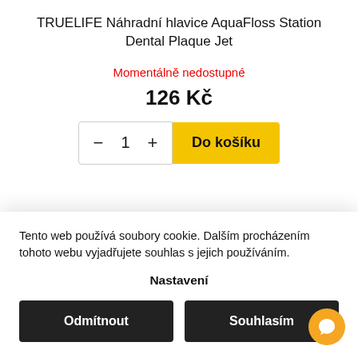TRUELIFE Náhradní hlavice AquaFloss Station Dental Plaque Jet
Momentálně nedostupné
126 Kč
− 1 + Do košíku
Tento web používá soubory cookie. Dalším procházením tohoto webu vyjadřujete souhlas s jejich používáním.
Nastavení
Odmítnout
Souhlasím